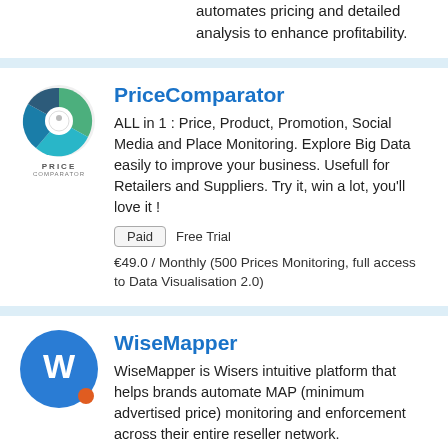automates pricing and detailed analysis to enhance profitability.
PriceComparator
ALL in 1 : Price, Product, Promotion, Social Media and Place Monitoring. Explore Big Data easily to improve your business. Usefull for Retailers and Suppliers. Try it, win a lot, you'll love it !
Paid   Free Trial
€49.0 / Monthly (500 Prices Monitoring, full access to Data Visualisation 2.0)
WiseMapper
WiseMapper is Wisers intuitive platform that helps brands automate MAP (minimum advertised price) monitoring and enforcement across their entire reseller network.